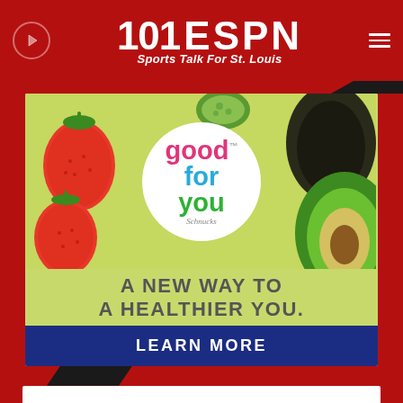101 ESPN — Sports Talk For St. Louis
[Figure (illustration): Schnucks 'good for you' advertisement showing fresh produce (strawberries, avocado, cucumber) with colorful logo circle and text 'A NEW WAY TO A HEALTHIER YOU.' with LEARN MORE button]
“Don’t get stuck with expensive car repairs!”